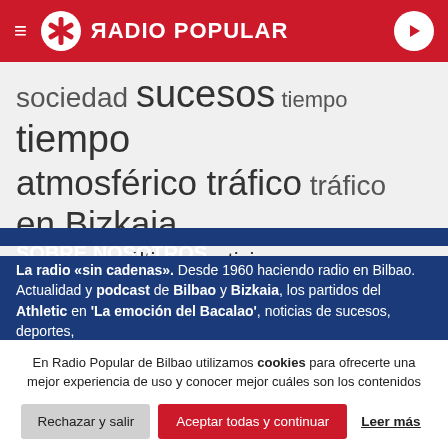RADIO POPULAR
sociedad sucesos tiempo tiempo atmosférico tráfico tráfico en Bizkaia Ucrania Zornotza últimas noticias
SOBRE NOSOTROS
La radio «sin cadenas». Desde 1960 haciendo radio en Bilbao. Actualidad y podcast de Bilbao y Bizkaia, los partidos del Athletic en 'La emoción del Bacalao', noticias de sucesos, deportes,
En Radio Popular de Bilbao utilizamos cookies para ofrecerte una mejor experiencia de uso y conocer mejor cuáles son los contenidos que más os gustan. No hacemos seguimientos que invadan tu privacidad ni ofrecemos publicidad personalizada según tu navegación. Al hacer clic en 'Aceptar todo', aceptas el uso de TODAS las cookies.
Rechazar y salir  Aceptar todas y continuar  Leer más